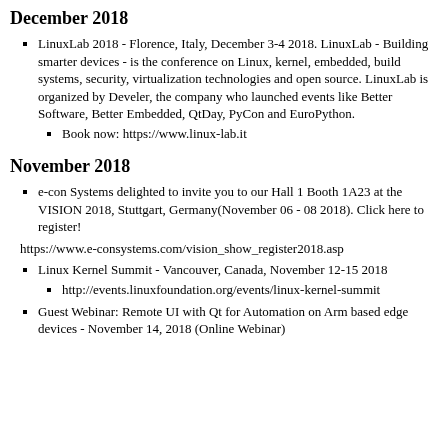December 2018
LinuxLab 2018 - Florence, Italy, December 3-4 2018. LinuxLab - Building smarter devices - is the conference on Linux, kernel, embedded, build systems, security, virtualization technologies and open source. LinuxLab is organized by Develer, the company who launched events like Better Software, Better Embedded, QtDay, PyCon and EuroPython.
Book now: https://www.linux-lab.it
November 2018
e-con Systems delighted to invite you to our Hall 1 Booth 1A23 at the VISION 2018, Stuttgart, Germany(November 06 - 08 2018). Click here to register!
https://www.e-consystems.com/vision_show_register2018.asp
Linux Kernel Summit - Vancouver, Canada, November 12-15 2018
http://events.linuxfoundation.org/events/linux-kernel-summit
Guest Webinar: Remote UI with Qt for Automation on Arm based edge devices - November 14, 2018 (Online Webinar)